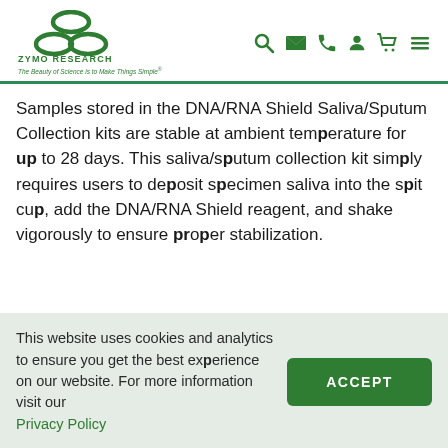[Figure (logo): Zymo Research logo with green triple-loop icon, company name in green, and tagline 'The Beauty of Science is to Make Things Simple']
Samples stored in the DNA/RNA Shield Saliva/Sputum Collection kits are stable at ambient temperature for up to 28 days. This saliva/sputum collection kit simply requires users to deposit specimen saliva into the spit cup, add the DNA/RNA Shield reagent, and shake vigorously to ensure proper stabilization.
This website uses cookies and analytics to ensure you get the best experience on our website. For more information visit our Privacy Policy